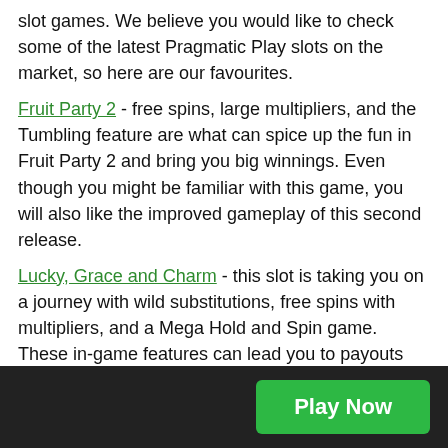slot games. We believe you would like to check some of the latest Pragmatic Play slots on the market, so here are our favourites.
Fruit Party 2 - free spins, large multipliers, and the Tumbling feature are what can spice up the fun in Fruit Party 2 and bring you big winnings. Even though you might be familiar with this game, you will also like the improved gameplay of this second release.
Lucky, Grace and Charm - this slot is taking you on a journey with wild substitutions, free spins with multipliers, and a Mega Hold and Spin game. These in-game features can lead you to payouts worth 10,000x the stake.
Rise of Samurai Megaways - this 6 reel slot game can deliver up to 200,704 paylines. Keep an eye out for the
[Figure (other): Broken image icons with labels 'Cash' and 'Elevator']
Play Now (button)